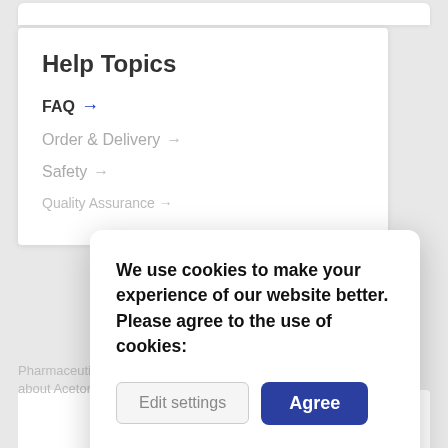Help Topics
FAQ →
Order & Delivery →
Safety →
Quality Assurance →
We use cookies to make your experience of our website better. Please agree to the use of cookies:
Edit settings
Agree
Read more
Pharmaceutical information about Acetondeprodum steroindeBSH S19